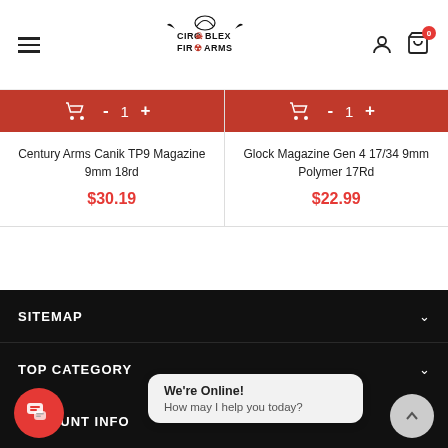Circoplex Firearms
Century Arms Canik TP9 Magazine 9mm 18rd — $30.19
Glock Magazine Gen 4 17/34 9mm Polymer 17Rd — $22.99
SITEMAP
TOP CATEGORY
CUSTOMER SERVICE
ACCOUNT INFO
We're Online! How may I help you today?